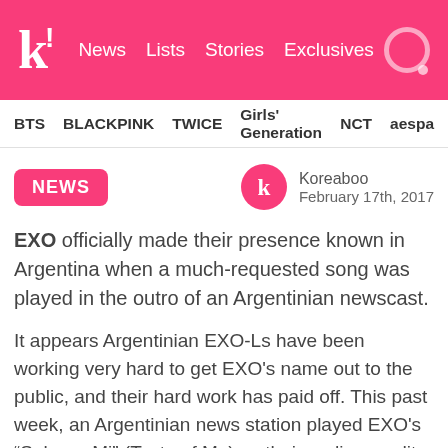k! News Lists Stories Exclusives
BTS BLACKPINK TWICE Girls' Generation NCT aespa
NEWS
Koreaboo
February 17th, 2017
EXO officially made their presence known in Argentina when a much-requested song was played in the outro of an Argentinian newscast.
It appears Argentinian EXO-Ls have been working very hard to get EXO's name out to the public, and their hard work has paid off. This past week, an Argentinian news station played EXO's “Sabor a Mi” (Taste of Me) as their ending credit song, and it was all thanks to the work of dedicated fans.